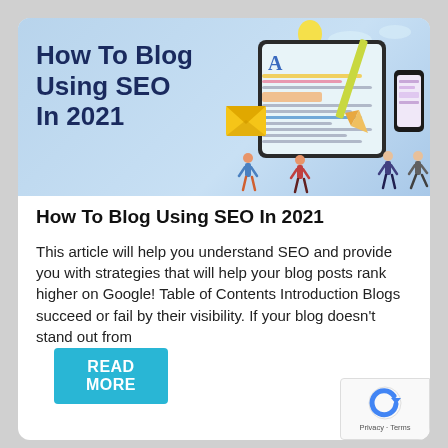[Figure (infographic): Banner image with light blue background showing 'How To Blog Using SEO In 2021' title text in dark navy bold, with illustrated tablet showing document, pencil, envelope, lightbulb, phone, clouds, and small human figures]
How To Blog Using SEO In 2021
This article will help you understand SEO and provide you with strategies that will help your blog posts rank higher on Google! Table of Contents Introduction Blogs succeed or fail by their visibility. If your blog doesn't stand out from
READ MORE